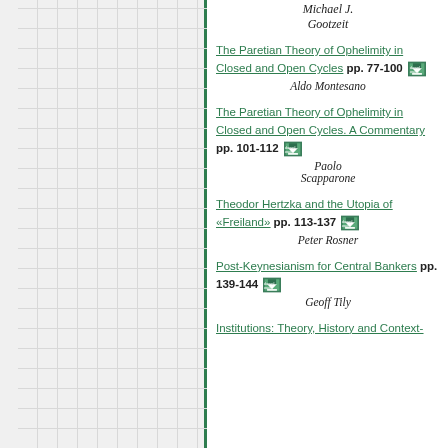Michael J. Gootzeit
The Paretian Theory of Ophelimity in Closed and Open Cycles pp. 77-100 [downloads] Aldo Montesano
The Paretian Theory of Ophelimity in Closed and Open Cycles. A Commentary pp. 101-112 [downloads] Paolo Scapparone
Theodor Hertzka and the Utopia of «Freiland» pp. 113-137 [downloads] Peter Rosner
Post-Keynesianism for Central Bankers pp. 139-144 [downloads] Geoff Tily
Institutions: Theory, History and Context-